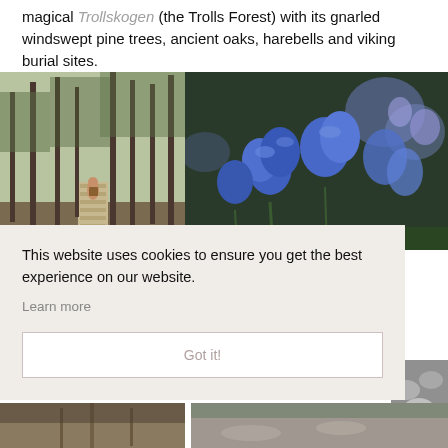magical Trollskogen (the Trolls Forest) with its gnarled windswept pine trees, ancient oaks, harebells and viking burial sites.
[Figure (photo): A person walking on a wooden boardwalk path through a pine forest with tall, slender trees]
[Figure (photo): Close-up of blue harebell wildflowers (bluebell flowers) with a blurred green background]
This website uses cookies to ensure you get the best experience on our website.
Learn more
Got it!
[Figure (photo): Partial view of smooth rounded pebble stones, grey and white colored]
[Figure (photo): Bottom strip showing partial image of a coastal or beach scene]
[Figure (photo): Bottom strip showing partial image on right side]